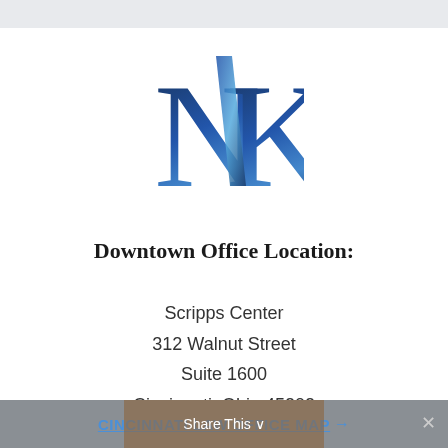[Figure (logo): NK law firm logo — large serif letters N and K in dark navy blue with a gradient blue diagonal element between them]
Downtown Office Location:
Scripps Center
312 Walnut Street
Suite 1600
Cincinnati, Ohio 45202
CINCINNATI LAW OFFICE MAP →